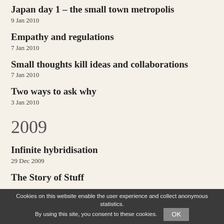Japan day 1 – the small town metropolis
9 Jan 2010
Empathy and regulations
7 Jan 2010
Small thoughts kill ideas and collaborations
7 Jan 2010
Two ways to ask why
3 Jan 2010
2009
Infinite hybridisation
29 Dec 2009
The Story of Stuff
Cookies on this website enable the user experience and collect anonymous statistics.
By using this site, you consent to these cookies.